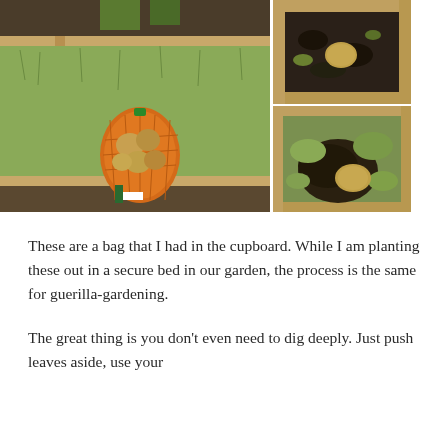[Figure (photo): Three garden photos showing raised beds with grass. Left: large raised bed with wooden frame, green grass inside, a bag of potatoes (orange net bag) sitting in the bed. Top right: close-up of dark soil/compost in a wooden box with a potato. Bottom right: raised bed with grass and a potato placed on top.]
These are a bag that I had in the cupboard. While I am planting these out in a secure bed in our garden, the process is the same for guerilla-gardening.
The great thing is you don't even need to dig deeply. Just push leaves aside, use your